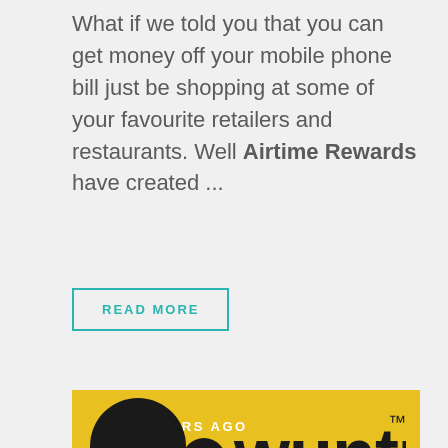What if we told you that you can get money off your mobile phone bill just be shopping at some of your favourite retailers and restaurants. Well Airtime Rewards have created ...
READ MORE
[Figure (logo): Yellow background card with bookmark icon and '3 YEARS AGO' text, featuring the Wuntu logo — two black circles (one large, one small) beside the word 'wuntu' in bold rounded black lettering with a trademark symbol]